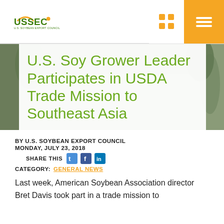USSEC U.S. Soybean Export Council
[Figure (photo): Background photo of outdoor/plant scene with white overlay panel containing article title]
U.S. Soy Grower Leader Participates in USDA Trade Mission to Southeast Asia
BY U.S. SOYBEAN EXPORT COUNCIL
MONDAY, JULY 23, 2018
SHARE THIS
CATEGORY: GENERAL NEWS
Last week, American Soybean Association director Bret Davis took part in a trade mission to